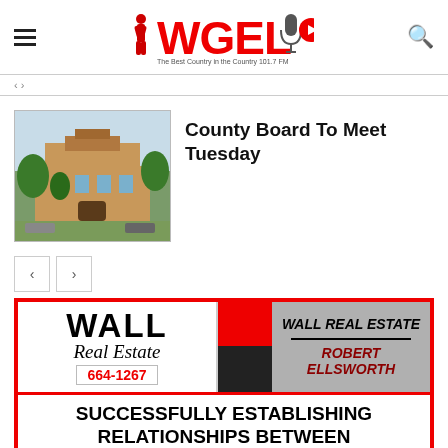WGEL - The Best Country in the Country 101.7 FM
County Board To Meet Tuesday
[Figure (photo): Exterior photo of a county government building with trees]
[Figure (illustration): Wall Real Estate advertisement banner featuring Robert Ellsworth, phone 664-1267, with text: SUCCESSFULLY ESTABLISHING RELATIONSHIPS BETWEEN]